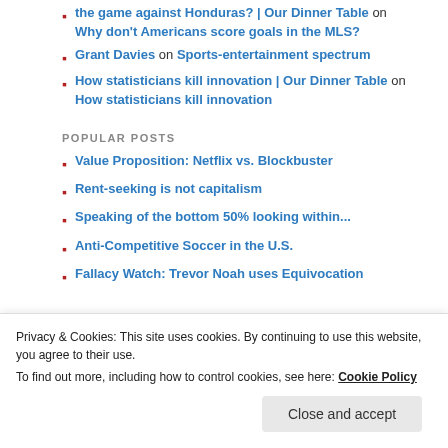the game against Honduras? | Our Dinner Table on Why don't Americans score goals in the MLS?
Grant Davies on Sports-entertainment spectrum
How statisticians kill innovation | Our Dinner Table on How statisticians kill innovation
POPULAR POSTS
Value Proposition: Netflix vs. Blockbuster
Rent-seeking is not capitalism
Speaking of the bottom 50% looking within...
Anti-Competitive Soccer in the U.S.
Fallacy Watch: Trevor Noah uses Equivocation
ABOUT THE HEADER
Privacy & Cookies: This site uses cookies. By continuing to use this website, you agree to their use. To find out more, including how to control cookies, see here: Cookie Policy
Close and accept